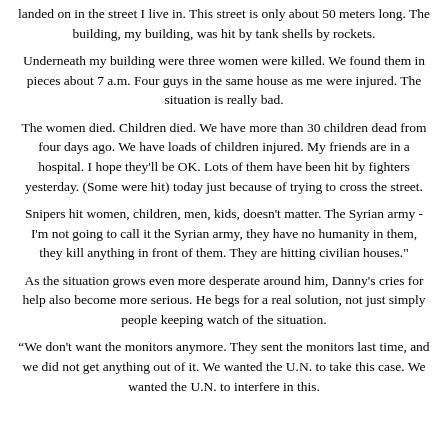landed on in the street I live in. This street is only about 50 meters long. The building, my building, was hit by tank shells by rockets.
Underneath my building were three women were killed. We found them in pieces about 7 a.m. Four guys in the same house as me were injured. The situation is really bad.
The women died. Children died. We have more than 30 children dead from four days ago. We have loads of children injured. My friends are in a hospital. I hope they'll be OK. Lots of them have been hit by fighters yesterday. (Some were hit) today just because of trying to cross the street.
Snipers hit women, children, men, kids, doesn't matter. The Syrian army - I'm not going to call it the Syrian army, they have no humanity in them, they kill anything in front of them. They are hitting civilian houses."
As the situation grows even more desperate around him, Danny's cries for help also become more serious. He begs for a real solution, not just simply people keeping watch of the situation.
“We don't want the monitors anymore. They sent the monitors last time, and we did not get anything out of it. We wanted the U.N. to take this case. We wanted the U.N. to interfere in this.